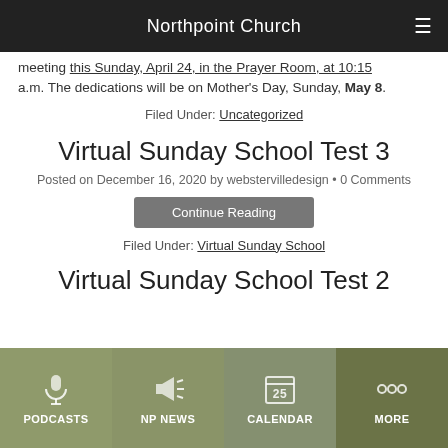Northpoint Church
meeting this Sunday, April 24, in the Prayer Room, at 10:15 a.m. The dedications will be on Mother's Day, Sunday, May 8.
Filed Under: Uncategorized
Virtual Sunday School Test 3
Posted on December 16, 2020 by webstervilledesign • 0 Comments
Continue Reading
Filed Under: Virtual Sunday School
Virtual Sunday School Test 2